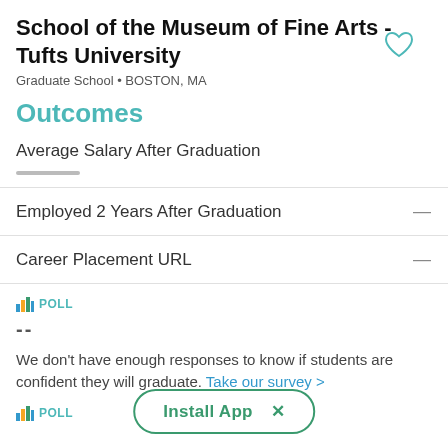School of the Museum of Fine Arts - Tufts University
Graduate School • BOSTON, MA
Outcomes
Average Salary After Graduation
Employed 2 Years After Graduation — —
Career Placement URL — —
POLL
--
We don't have enough responses to know if students are confident they will graduate. Take our survey >
POLL